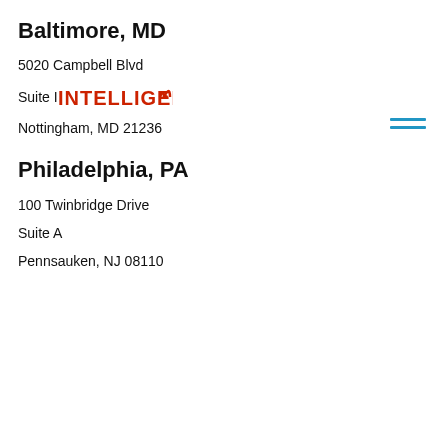Baltimore, MD
5020 Campbell Blvd
Suite I
[Figure (logo): INTELLIGEN((•E logo in red bold uppercase letters with stylized wave/signal graphic]
Nottingham, MD 21236
Philadelphia, PA
100 Twinbridge Drive
Suite A
Pennsauken, NJ 08110